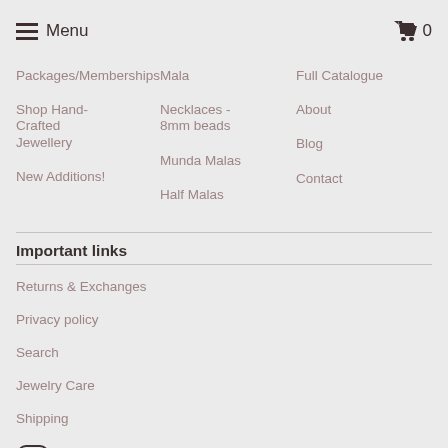Menu  0
Packages/Memberships
Mala
Full Catalogue
Shop Hand-Crafted Jewellery
Necklaces - 8mm beads
About
New Additions!
Munda Malas
Blog
Half Malas
Contact
Important links
Returns & Exchanges
Privacy policy
Search
Jewelry Care
Shipping
[Figure (illustration): Instagram icon (rounded square with circle inside)]